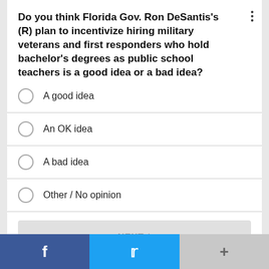Do you think Florida Gov. Ron DeSantis's (R) plan to incentivize hiring military veterans and first responders who hold bachelor's degrees as public school teachers is a good idea or a bad idea?
A good idea
An OK idea
A bad idea
Other / No opinion
NEXT *
* By clicking "NEXT" you agree to the following: We use cookies to track your survey answers. If you would like to continue with this survey, please read and agree to the CivicScience Privacy Policy and Terms of Service